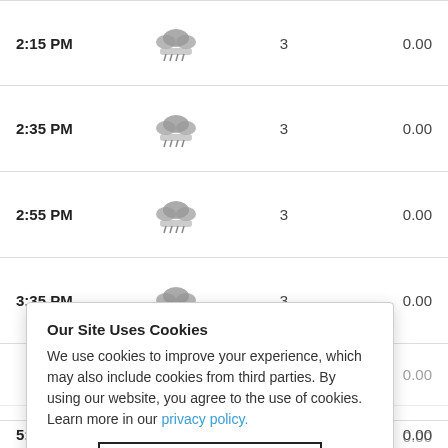| Time | Condition | Value1 | Value2 |
| --- | --- | --- | --- |
| 2:15 PM | [weather icon] | 3 | 0.00 |
| 2:35 PM | [weather icon] | 3 | 0.00 |
| 2:55 PM | [weather icon] | 3 | 0.00 |
| 3:35 PM | [weather icon] | 3 | 0.00 |
|  |  |  | 0.00 |
|  |  |  | 0.00 |
|  |  |  | 0.00 |
|  |  |  | 0.00 |
| 5:15 PM | [weather icon] | 3 | 0.00 |
Our Site Uses Cookies
We use cookies to improve your experience, which may also include cookies from third parties. By using our website, you agree to the use of cookies. Learn more in our privacy policy.
ACCEPT & CLOSE